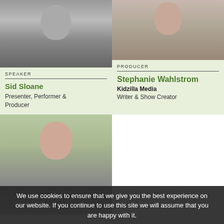[Figure (photo): Black and white headshot of Sid Sloane]
SPEAKER
Sid Sloane
Presenter, Performer & Producer
[Figure (photo): Color headshot of Stephanie Wahlstrom]
PRODUCER
Stephanie Wahlstrom
Kidzilla Media
Writer & Show Creator
[Figure (photo): Color headshot of a third speaker, partially visible]
We use cookies to ensure that we give you the best experience on our website. If you continue to use this site we will assume that you are happy with it.